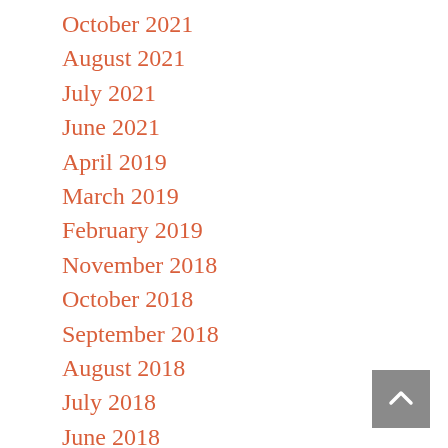October 2021
August 2021
July 2021
June 2021
April 2019
March 2019
February 2019
November 2018
October 2018
September 2018
August 2018
July 2018
June 2018
May 2018
April 2018